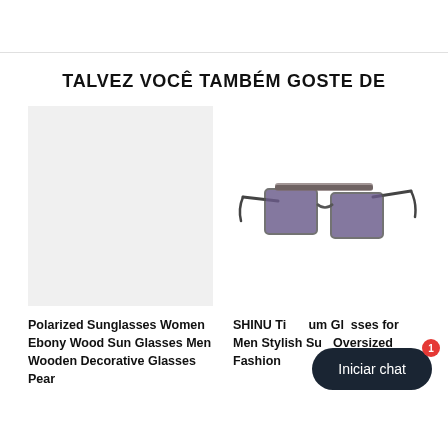TALVEZ VOCÊ TAMBÉM GOSTE DE
[Figure (photo): Light gray placeholder rectangle for product image (Polarized Sunglasses Women Ebony Wood)]
[Figure (photo): Photo of SHINU Titanium sunglasses for men, rimless square frame with dark tinted lenses and thin metal arms]
Polarized Sunglasses Women Ebony Wood Sun Glasses Men Wooden Decorative Glasses Pear
SHINU Titanium Glasses for Men Stylish Sun Oversized Fashion
Iniciar chat